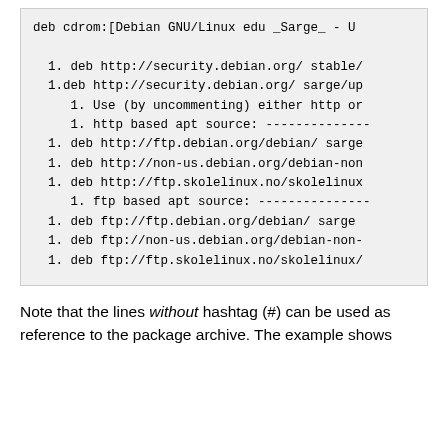[Figure (screenshot): Code/text box showing apt sources.list lines including cdrom, security.debian.org, ftp.debian.org, non-us.debian.org, ftp.skolelinux.no entries both http and ftp based]
Note that the lines without hashtag (#) can be used as reference to the package archive. The example shows